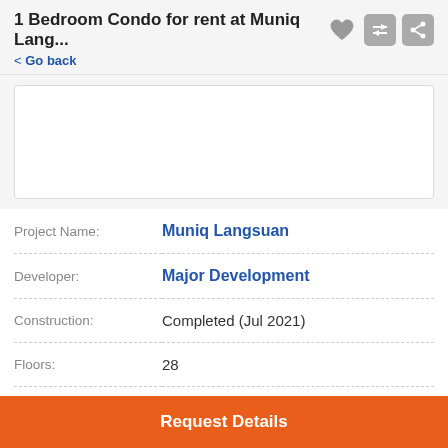1 Bedroom Condo for rent at Muniq Lang...
< Go back
[Figure (photo): Image placeholder area for condo photo]
| Project Name: | Muniq Langsuan |
| Developer: | Major Development |
| Construction: | Completed (Jul 2021) |
| Floors: | 28 |
| Buildings: | 1 |
| Units: | 166 |
Request Details